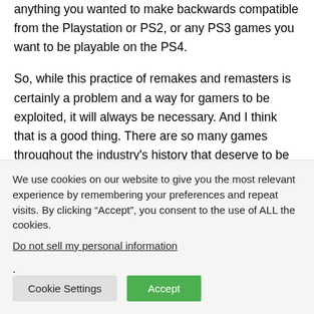anything you wanted to make backwards compatible from the Playstation or PS2, or any PS3 games you want to be playable on the PS4.
So, while this practice of remakes and remasters is certainly a problem and a way for gamers to be exploited, it will always be necessary. And I think that is a good thing. There are so many games throughout the industry's history that deserve to be played but will not be played because they simply are not available now.
We use cookies on our website to give you the most relevant experience by remembering your preferences and repeat visits. By clicking “Accept”, you consent to the use of ALL the cookies.
Do not sell my personal information.
Cookie Settings
Accept